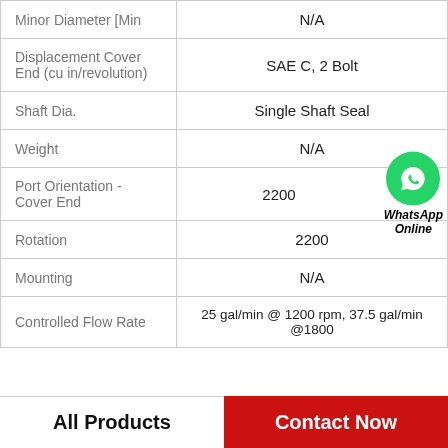| Property | Value |
| --- | --- |
| Minor Diameter [Min | N/A |
| Displacement Cover End (cu in/revolution) | SAE C, 2 Bolt |
| Shaft Dia. | Single Shaft Seal |
| Weight | N/A |
| Port Orientation - Cover End | 2200 |
| Rotation | 2200 |
| Mounting | N/A |
| Controlled Flow Rate | 25 gal/min @ 1200 rpm, 37.5 gal/min @1800 |
All Products
Contact Now